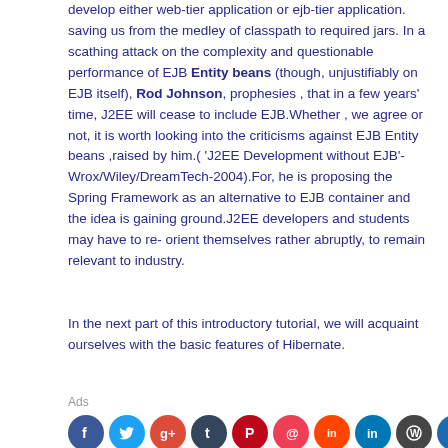develop either web-tier application or ejb-tier application. saving us from the medley of classpath to required jars. In a scathing attack on the complexity and questionable performance of EJB Entity beans (though, unjustifiably on EJB itself), Rod Johnson, prophesies , that in a few years' time, J2EE will cease to include EJB.Whether , we agree or not, it is worth looking into the criticisms against EJB Entity beans ,raised by him.( 'J2EE Development without EJB'-Wrox/Wiley/DreamTech-2004).For, he is proposing the Spring Framework as an alternative to EJB container and the idea is gaining ground.J2EE developers and students may have to re-orient themselves rather abruptly, to remain relevant to industry.
In the next part of this introductory tutorial, we will acquaint ourselves with the basic features of Hibernate.
Ads
[Figure (infographic): Row of social media sharing icon circles: Facebook, Twitter, Google+, Tumblr, Pinterest, Pocket, Reddit, LinkedIn, WordPress, Pinboard]